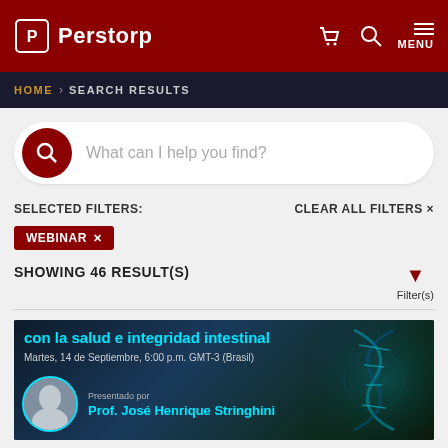[Figure (screenshot): Perstorp website header with dark red background, Perstorp logo on left, cart icon, search icon, and MENU on right]
HOME > SEARCH RESULTS
[Figure (screenshot): Search bar with dark red circle search icon and placeholder text 'What can I help you find?']
SELECTED FILTERS:
CLEAR ALL FILTERS ×
WEBINAR ×
SHOWING 46 RESULT(S)
Filter(s)
[Figure (photo): Webinar banner image with dark background, cyan text 'con la salud e integridad intestinal', date 'Martes, 14 de Septiembre, 6:00 p.m. GMT-3 (Brasil)', presenter photo of Prof. José Henrique Stringhini in a circular frame with cyan border, and DNA helix graphic on the right]
11 AUGUST 2021